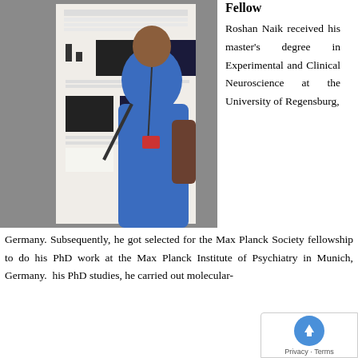[Figure (photo): Photo of Roshan Naik standing next to a research poster at a conference, wearing a blue shirt and conference badge/lanyard.]
Fellow
Roshan Naik received his master's degree in Experimental and Clinical Neuroscience at the University of Regensburg, Germany. Subsequently, he got selected for the Max Planck Society fellowship to do his PhD work at the Max Planck Institute of Psychiatry in Munich, Germany. his PhD studies, he carried out molecular-
[Figure (screenshot): Cookie consent overlay widget in bottom-right corner of page, showing a blue circular icon with upward arrow and text 'Privacy - Terms'.]